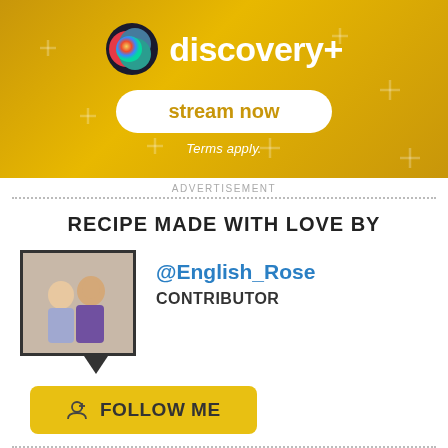[Figure (other): Discovery+ advertisement banner with logo, 'stream now' button, and 'Terms apply.' text on a golden yellow background with decorative plus signs]
ADVERTISEMENT
RECIPE MADE WITH LOVE BY
[Figure (photo): Profile photo of a woman with a child, framed with a black border and speech bubble tail. Username @English_Rose, role CONTRIBUTOR shown to the right.]
FOLLOW ME
RECIPES
2260
TWEAKS
3
PHOTOS
15